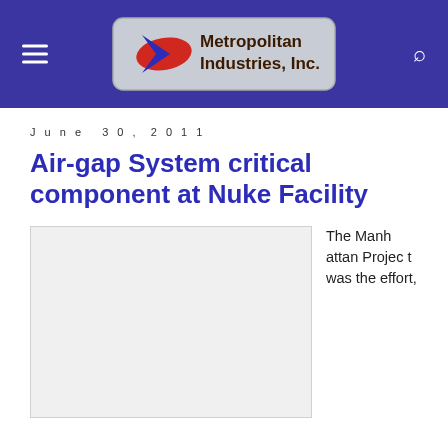Metropolitan Industries, Inc.
June 30, 2011
Air-gap System critical component at Nuke Facility
[Figure (photo): Photograph placeholder for nuclear facility air-gap system]
The Manhattan Project was the effort,